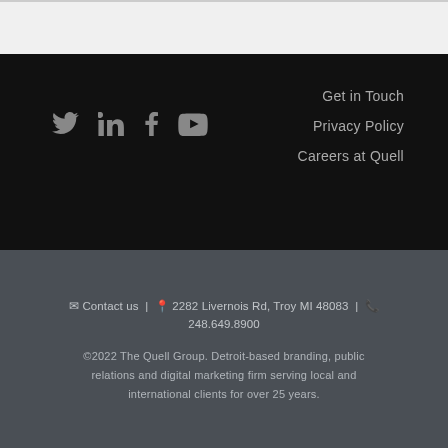[Figure (other): Light gray top bar area]
[Figure (other): Social media icons: Twitter, LinkedIn, Facebook, YouTube on dark background]
Get in Touch
Privacy Policy
Careers at Quell
Contact us | 2282 Livernois Rd, Troy MI 48083 | 248.649.8900
©2022 The Quell Group. Detroit-based branding, public relations and digital marketing firm serving local and international clients for over 25 years.